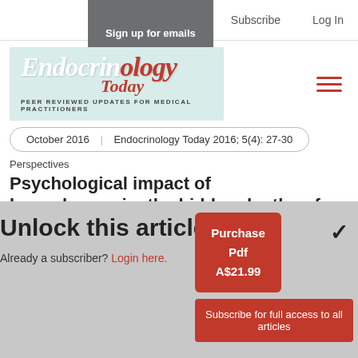Sign up for emails   Subscribe   Log In
[Figure (logo): Endocrinology Today logo with subtitle: PEER REVIEWED UPDATES FOR MEDICAL PRACTITIONERS]
October 2016    Endocrinology Today 2016; 5(4): 27-30
Perspectives
Psychological impact of hypoglycaemia: the hidden depths of the type 2 diabetes iceberg
Unlock this article
Already a subscriber? Login here.
Purchase Pdf A$21.99
Subscribe for full access to all articles